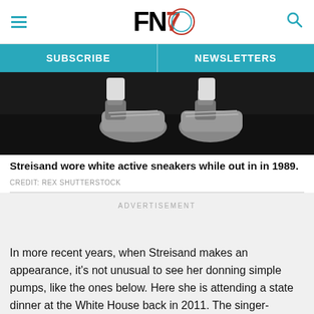FN7 [logo with hamburger menu and search icon]
[Figure (photo): Black and white photo showing feet/legs of a person wearing white active sneakers, cropped view from below the knees]
Streisand wore white active sneakers while out in in 1989.
CREDIT: REX SHUTTERSTOCK
ADVERTISEMENT
In more recent years, when Streisand makes an appearance, it's not unusual to see her donning simple pumps, like the ones below. Here she is attending a state dinner at the White House back in 2011. The singer-actress wore black high-heeled peep-toe pumps with husband James Brolin in tow.